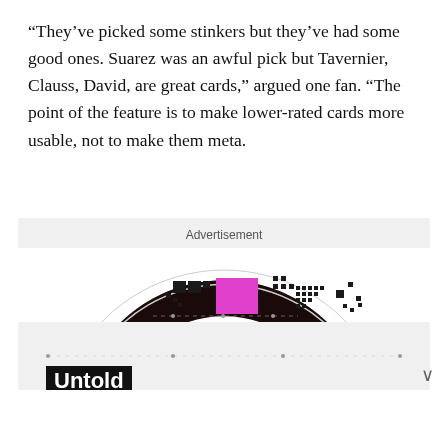“They’ve picked some stinkers but they’ve had some good ones. Suarez was an awful pick but Tavernier, Clauss, David, are great cards,” argued one fan. “The point of the feature is to make lower-rated cards more usable, not to make them meta.
[Figure (screenshot): Advertisement screenshot showing a test card pattern at top (circular dark arc with magenta square and dot grid pattern), followed by 'Untold' text in white on black background, 'Influencer Stories' heading, and three thumbnail images of people at the bottom.]